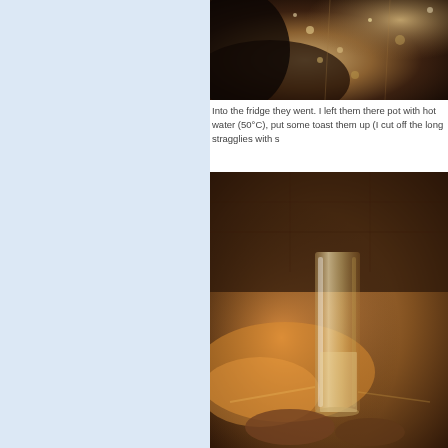[Figure (photo): Close-up of bubbling hot liquid in a pot, dark background, steam visible]
Into the fridge they went. I left them there pot with hot water (50°C), put some toast them up (I cut off the long stragglies with s
[Figure (photo): Glass container or jar sitting on a dark metallic surface with warm ambient lighting]